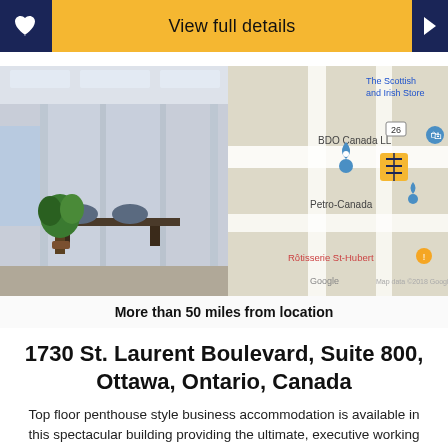View full details
[Figure (photo): Office interior photo on left and Google Maps location on right, showing BDO Canada LLP area with Petro-Canada and Rôtisserie St-Hubert nearby]
More than 50 miles from location
1730 St. Laurent Boulevard, Suite 800, Ottawa, Ontario, Canada
Top floor penthouse style business accommodation is available in this spectacular building providing the ultimate, executive working environment. This professional serviced business center provides top quality accommodation and